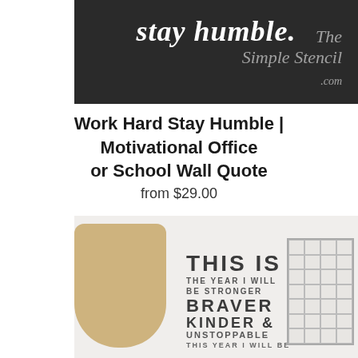[Figure (photo): Photo showing a wall decal with 'stay humble.' text in script on a dark wall background, with 'The Simple Stencil .com' branding in cursive]
Work Hard Stay Humble | Motivational Office or School Wall Quote
from $29.00
[Figure (photo): Photo of a home office room with a wall decal reading 'THIS IS THE YEAR I WILL BE STRONGER BRAVER KINDER & UNSTOPPABLE THIS YEAR I WILL BE FIERCE'. A wicker bag hangs on the left, a grid memo board on the right, and a desk with lamp and laptop below.]
MENU